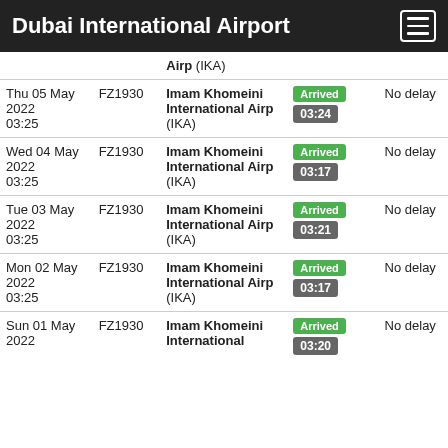Dubai International Airport
| Date/Time | Flight | Destination | Status | Delay |
| --- | --- | --- | --- | --- |
|  |  | Airp (IKA) |  |  |
| Thu 05 May 2022 03:25 | FZ1930 | Imam Khomeini International Airp (IKA) | Arrived 03:24 | No delay |
| Wed 04 May 2022 03:25 | FZ1930 | Imam Khomeini International Airp (IKA) | Arrived 03:17 | No delay |
| Tue 03 May 2022 03:25 | FZ1930 | Imam Khomeini International Airp (IKA) | Arrived 03:21 | No delay |
| Mon 02 May 2022 03:25 | FZ1930 | Imam Khomeini International Airp (IKA) | Arrived 03:17 | No delay |
| Sun 01 May 2022 | FZ1930 | Imam Khomeini International Airp (IKA) | Arrived 03:20 | No delay |